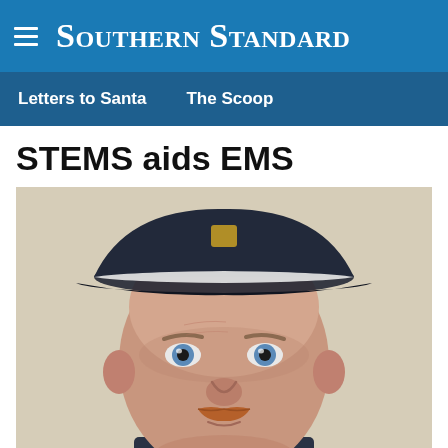Southern Standard
Letters to Santa    The Scoop
STEMS aids EMS
[Figure (photo): Close-up portrait photo of a middle-aged man wearing a dark navy baseball cap with a white stripe, blue eyes, and a reddish-brown mustache, wearing a dark shirt, against a beige background.]